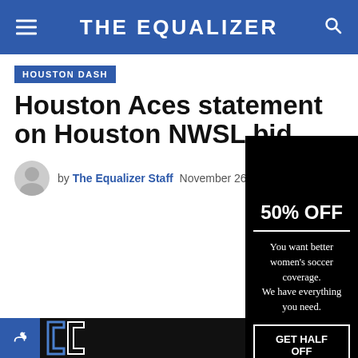THE EQUALIZER
HOUSTON DASH
Houston Aces statement on Houston NWSL bid
by The Equalizer Staff  November 26, 2013
[Figure (infographic): Black promotional overlay panel showing '50% OFF' heading, horizontal divider, body text 'You want better women's soccer coverage. We have everything you need.' and a button labeled 'GET HALF OFF']